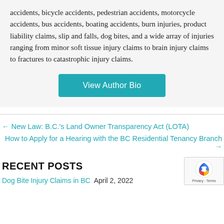accidents, bicycle accidents, pedestrian accidents, motorcycle accidents, bus accidents, boating accidents, burn injuries, product liability claims, slip and falls, dog bites, and a wide array of injuries ranging from minor soft tissue injury claims to brain injury claims to fractures to catastrophic injury claims.
View Author Bio
← New Law: B.C.'s Land Owner Transparency Act (LOTA)
How to Apply for a Hearing with the BC Residential Tenancy Branch →
RECENT POSTS
Dog Bite Injury Claims in BC  April 2, 2022